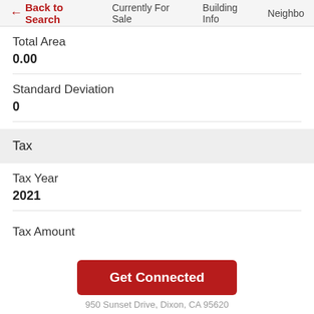← Back to Search   Currently For Sale   Building Info   Neighbo
Total Area
0.00
Standard Deviation
0
Tax
Tax Year
2021
Tax Amount
Get Connected
950 Sunset Drive, Dixon, CA 95620